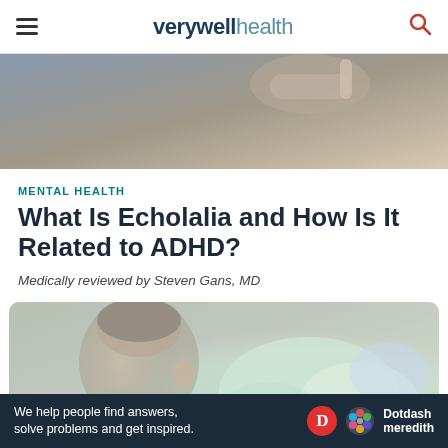verywell health
[Figure (photo): Close-up photo of a child pointing a finger at a chalkboard or wall, partially visible from the side]
MENTAL HEALTH
What Is Echolalia and How Is It Related to ADHD?
Medically reviewed by Steven Gans, MD
[Figure (photo): Child seen from behind, looking at a blurred colorful scene, possibly an educational setting]
Ad
We help people find answers, solve problems and get inspired.
[Figure (logo): Dotdash Meredith logo with red D circle, colorful hexagon icon, and Dotdash Meredith text]